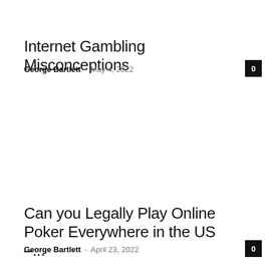Internet Gambling Misconceptions
George Bartlett - May 4, 2022
Can you Legally Play Online Poker Everywhere in the US –...
George Bartlett - April 23, 2022